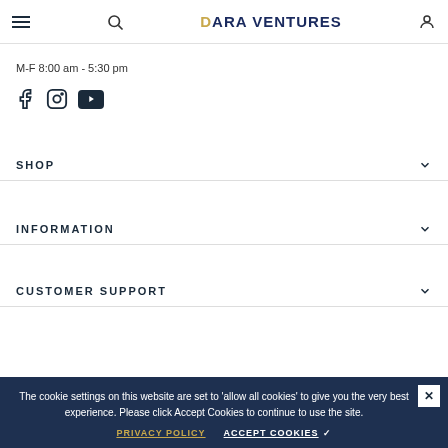DARA VENTURES
M-F 8:00 am - 5:30 pm
[Figure (other): Social media icons: Facebook, Instagram, YouTube]
SHOP
INFORMATION
CUSTOMER SUPPORT
The cookie settings on this website are set to 'allow all cookies' to give you the very best experience. Please click Accept Cookies to continue to use the site.
PRIVACY POLICY    ACCEPT COOKIES ✓